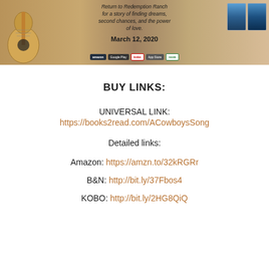[Figure (illustration): Book promotion banner for 'A Cowboy's Song' — Return to Redemption Ranch for a story of finding dreams, second chances, and the power of love. March 12, 2020. Shows a guitar on left, book covers on right, and retailer store badges (Amazon, Google Play, Kobo, Apple, Nook).]
BUY LINKS:
UNIVERSAL LINK:
https://books2read.com/ACowboysSong
Detailed links:
Amazon: https://amzn.to/32kRGRr
B&N: http://bit.ly/37Fbos4
KOBO: http://bit.ly/2HG8QiQ